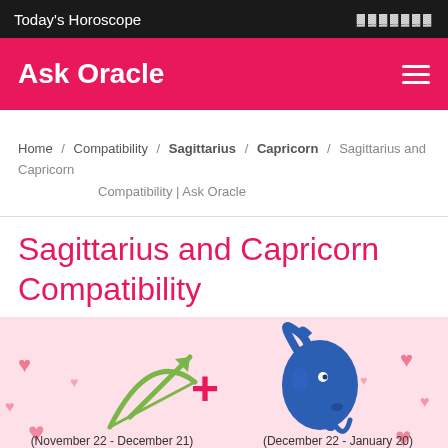Today's Horoscope
Ask Oracle
Home / Compatibility / Sagittarius / Capricorn / Sagittarius and Capricorn Compatibility | Ask Oracle
Sagittarius and Capricorn Compatibility
[Figure (illustration): Sagittarius and Capricorn zodiac compatibility image showing Sagittarius archer symbol (green bow and arrow) and Capricorn goat symbol (blue goat head) with a plus sign between them, dates (November 22 - December 21) and (December 22 - January 20), and text 'Sagittarius Capricorn' at bottom, with pink hearts background]